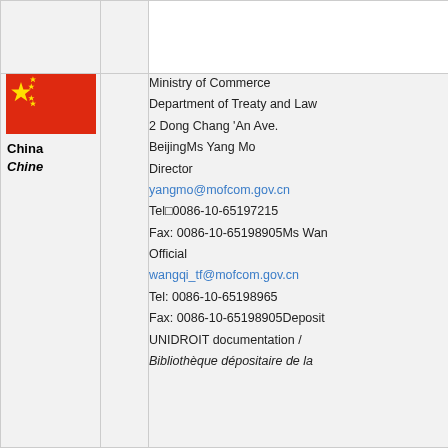[Figure (illustration): Chinese national flag (red with yellow stars)]
China
Chine
Ministry of Commerce
Department of Treaty and Law
2 Dong Chang 'An Ave.
BeijingMs Yang Mo
Director
yangmo@mofcom.gov.cn
Tel□0086-10-65197215
Fax: 0086-10-65198905Ms Wan
Official
wangqi_tf@mofcom.gov.cn
Tel: 0086-10-65198965
Fax: 0086-10-65198905Deposit
UNIDROIT documentation /
Bibliothèque dépositaire de la